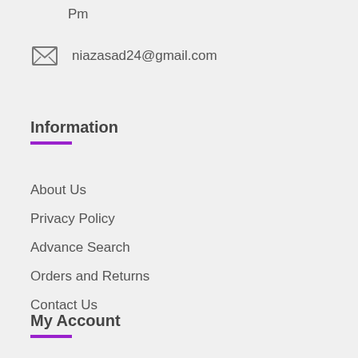Pm
niazasad24@gmail.com
Information
About Us
Privacy Policy
Advance Search
Orders and Returns
Contact Us
My Account